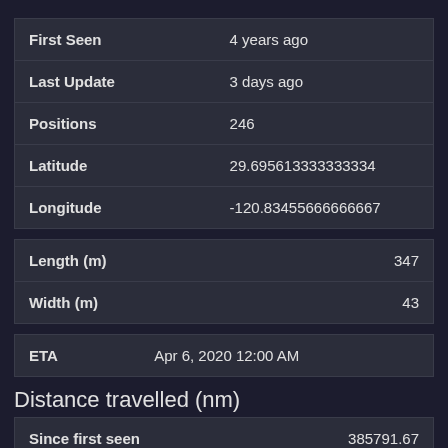| Field | Value |
| --- | --- |
| First Seen | 4 years ago |
| Last Update | 3 days ago |
| Positions | 246 |
| Latitude | 29.695613333333334 |
| Longitude | -120.83455666666667 |
| Field | Value |
| --- | --- |
| Length (m) | 347 |
| Width (m) | 43 |
| Field | Value |
| --- | --- |
| ETA | Apr 6, 2020 12:00 AM |
Distance travelled (nm)
| Field | Value |
| --- | --- |
| Since first seen | 385791.67 |